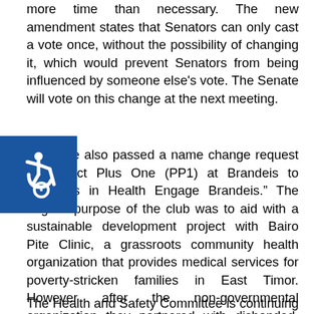more time than necessary. The new amendment states that Senators can only cast a vote once, without the possibility of changing it, which would prevent Senators from being influenced by someone else's vote. The Senate will vote on this change at the next meeting.
[Figure (illustration): Blue square accessibility icon showing a wheelchair user symbol in white]
The Senate also passed a name change request from Project Plus One (PP1) at Brandeis to “Partners in Health Engage Brandeis.” The original purpose of the club was to aid with a sustainable development project with Bairo Pite Clinic, a grassroots community health organization that provides medical services for poverty-stricken families in East Timor. However after the non-governmental organization they partnered with disbanded, the club decided that they still want to continue doing the work they do, but under a different name.
The Health and Safety Committee is continuing its